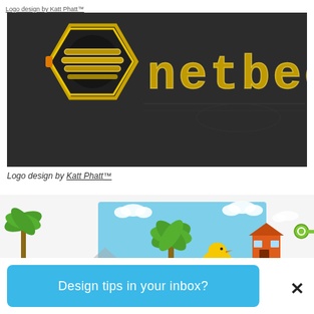Logo design by Katt Phatt™
[Figure (logo): Netbee logo: dark hexagonal emblem with golden neon honeycomb/mechanical design on left, and 'netbee' text in golden neon tube lettering on right, against dark grey background]
Logo design by Katt Phatt™
[Figure (illustration): Colorful 3D illustration showing tropical/insurance themed objects: green palm tree, yellow rubber duck, orange house with key, clouds, on light blue background]
Design tips in your inbox?